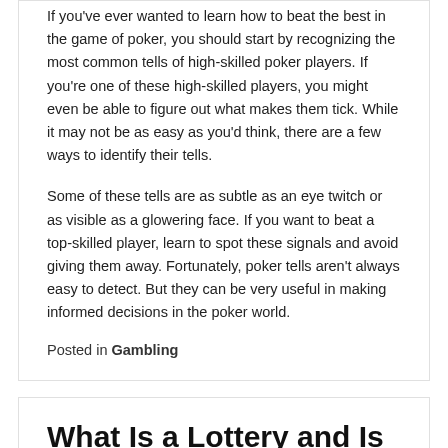If you've ever wanted to learn how to beat the best in the game of poker, you should start by recognizing the most common tells of high-skilled poker players. If you're one of these high-skilled players, you might even be able to figure out what makes them tick. While it may not be as easy as you'd think, there are a few ways to identify their tells.
Some of these tells are as subtle as an eye twitch or as visible as a glowering face. If you want to beat a top-skilled player, learn to spot these signals and avoid giving them away. Fortunately, poker tells aren't always easy to detect. But they can be very useful in making informed decisions in the poker world.
Posted in Gambling
What Is a Lottery and Is